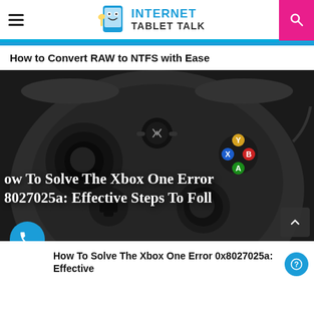Internet Tablet Talk
How to Convert RAW to NTFS with Ease
[Figure (screenshot): Close-up photo of an Xbox One black game controller showing thumbsticks, bumpers, and face buttons, with overlaid text reading 'How To Solve The Xbox One Error 0x8027025a: Effective Steps To Follow']
How To Solve The Xbox One Error 0x8027025a: Effective